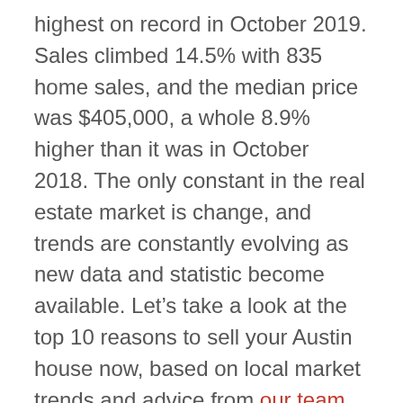highest on record in October 2019. Sales climbed 14.5% with 835 home sales, and the median price was $405,000, a whole 8.9% higher than it was in October 2018. The only constant in the real estate market is change, and trends are constantly evolving as new data and statistic become available. Let's take a look at the top 10 reasons to sell your Austin house now, based on local market trends and advice from our team of real estate professionals.
1. You'll Turn a Profit
If you have lived in your home for more than